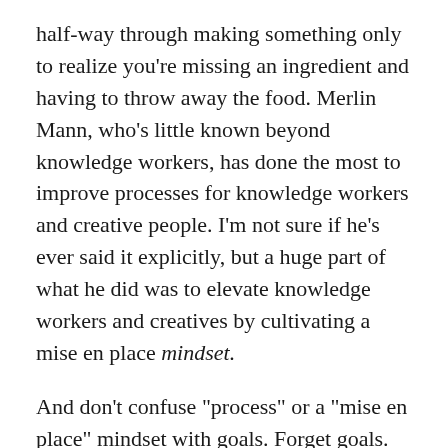half-way through making something only to realize you're missing an ingredient and having to throw away the food. Merlin Mann, who's little known beyond knowledge workers, has done the most to improve processes for knowledge workers and creative people. I'm not sure if he's ever said it explicitly, but a huge part of what he did was to elevate knowledge workers and creatives by cultivating a mise en place mindset.
And don't confuse "process" or a "mise en place" mindset with goals. Forget goals. Focus on the process, and focus on eliminating friction.
To quote Seth Godin: